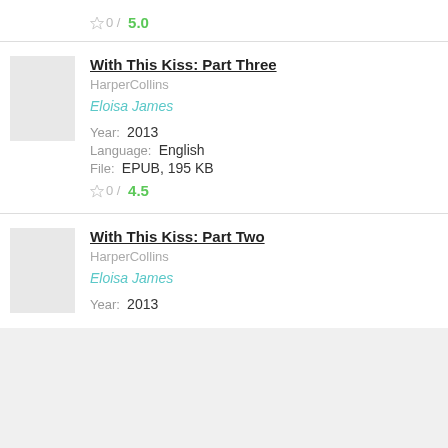0 / 5.0
With This Kiss: Part Three
HarperCollins
Eloisa James
Year: 2013
Language: English
File: EPUB, 195 KB
0 / 4.5
With This Kiss: Part Two
HarperCollins
Eloisa James
Year: 2013